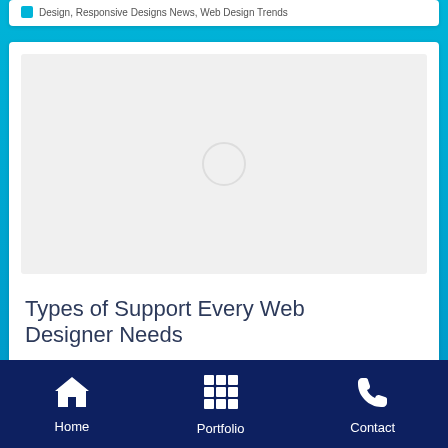Design, Responsive Designs News, Web Design Trends
[Figure (screenshot): Image placeholder with loading spinner circle in the center, light gray background]
Types of Support Every Web Designer Needs
Home | Portfolio | Contact